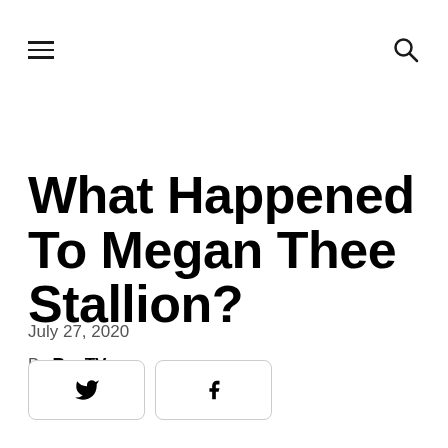≡  🔍
What Happened To Megan Thee Stallion?
July 27, 2020
By RapTV
[Figure (other): Social share buttons: Twitter (bird icon) and Facebook (f icon)]